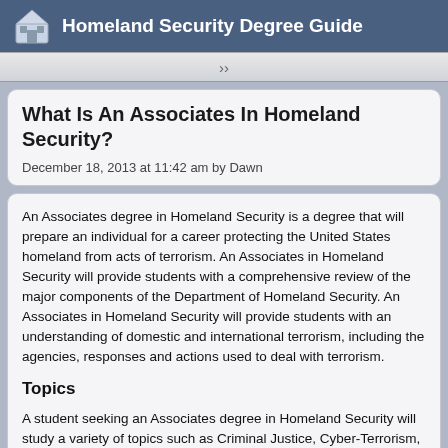Homeland Security Degree Guide
What Is An Associates In Homeland Security?
December 18, 2013 at 11:42 am by Dawn
An Associates degree in Homeland Security is a degree that will prepare an individual for a career protecting the United States homeland from acts of terrorism. An Associates in Homeland Security will provide students with a comprehensive review of the major components of the Department of Homeland Security. An Associates in Homeland Security will provide students with an understanding of domestic and international terrorism, including the agencies, responses and actions used to deal with terrorism.
Topics
A student seeking an Associates degree in Homeland Security will study a variety of topics such as Criminal Justice, Cyber-Terrorism, Domestic and International Terrorism, Organizing the War on Terrorism, Bio-Terrorism, Hazardous Materials, Weapons of Mass Destruction, Emergency Planning, and